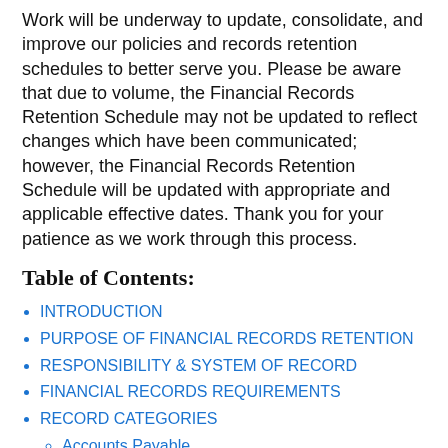Work will be underway to update, consolidate, and improve our policies and records retention schedules to better serve you. Please be aware that due to volume, the Financial Records Retention Schedule may not be updated to reflect changes which have been communicated; however, the Financial Records Retention Schedule will be updated with appropriate and applicable effective dates. Thank you for your patience as we work through this process.
Table of Contents:
INTRODUCTION
PURPOSE OF FINANCIAL RECORDS RETENTION
RESPONSIBILITY & SYSTEM OF RECORD
FINANCIAL RECORDS REQUIREMENTS
RECORD CATEGORIES
Accounts Payable
Accounts Receivable, Including Rates and Fees
Budget Records